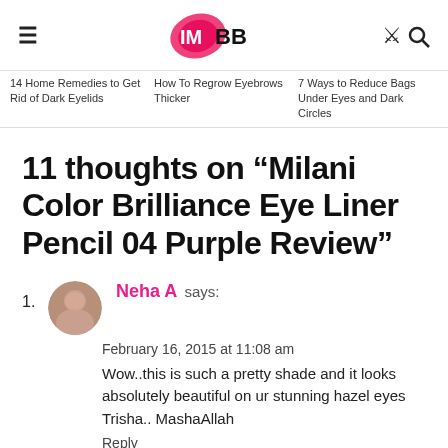IMBB logo with hamburger menu and search icon
14 Home Remedies to Get Rid of Dark Eyelids | How To Regrow Eyebrows Thicker | 7 Ways to Reduce Bags Under Eyes and Dark Circles
11 thoughts on “Milani Color Brilliance Eye Liner Pencil 04 Purple Review”
1. Neha A says: February 16, 2015 at 11:08 am
Wow..this is such a pretty shade and it looks absolutely beautiful on ur stunning hazel eyes Trisha.. MashaAllah
Reply
1. Trisha says: